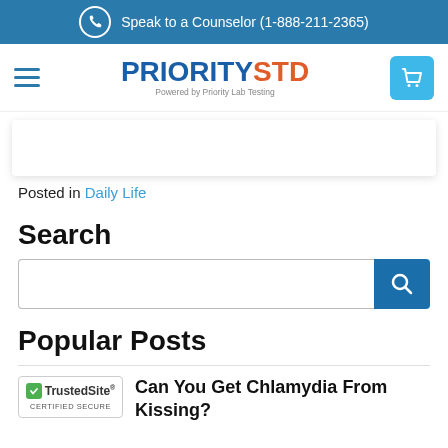Speak to a Counselor (1-888-211-2365)
[Figure (logo): PRIORITYSTD logo - Powered by Priority Lab Testing]
Posted in Daily Life
Search
Popular Posts
Can You Get Chlamydia From Kissing?